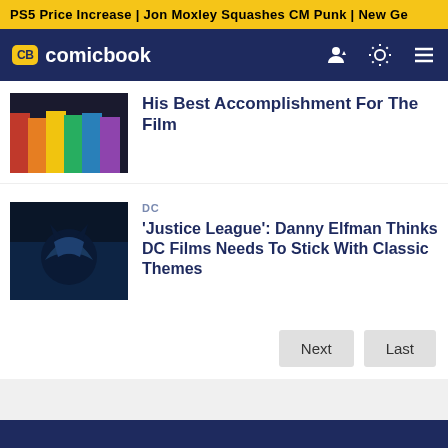PS5 Price Increase | Jon Moxley Squashes CM Punk | New Ge
CB comicbook
His Best Accomplishment For The Film
DC
'Justice League': Danny Elfman Thinks DC Films Needs To Stick With Classic Themes
Next  Last